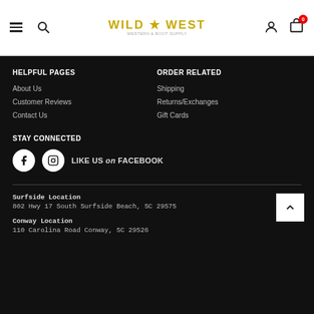Wild West — navigation header with hamburger menu, search, logo, user icon, and cart (0)
HELPFUL PAGES
About Us
Customer Reviews
Contact Us
ORDER RELATED
Shipping
Returns/Exchanges
Gift Cards
STAY CONNECTED
LIKE US on FACEBOOK
Surfside Location
802 Hwy 17 South Surfside Beach, SC 29575
Conway Location
110 Carolina Road Conway, SC 29526